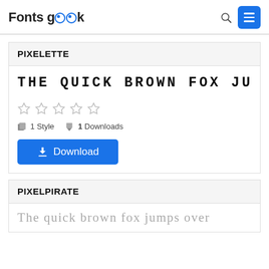Fonts Geek
PIXELETTE
THE QUICK BROWN FOX JUMPS
☆ ☆ ☆ ☆ ☆
1 Style  1 Downloads
Download
PIXELPIRATE
The quick brown fox jumps over